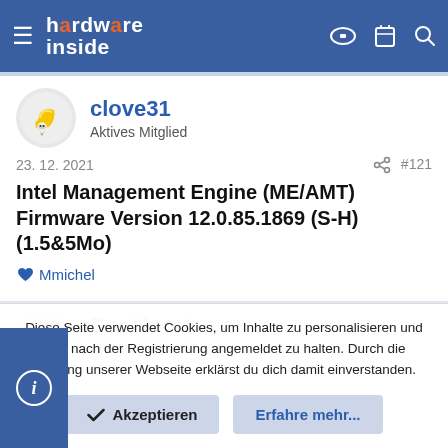hardware inside
clove31
Aktives Mitglied
23. 12. 2021  #121
Intel Management Engine (ME/AMT) Firmware Version 12.0.85.1869 (S-H)(1.5&5Mo)
Mmichel
Der Horst
Aktives Mitglied
Diese Seite verwendet Cookies, um Inhalte zu personalisieren und dich nach der Registrierung angemeldet zu halten. Durch die Nutzung unserer Webseite erklärst du dich damit einverstanden.
Akzeptieren
Erfahre mehr...